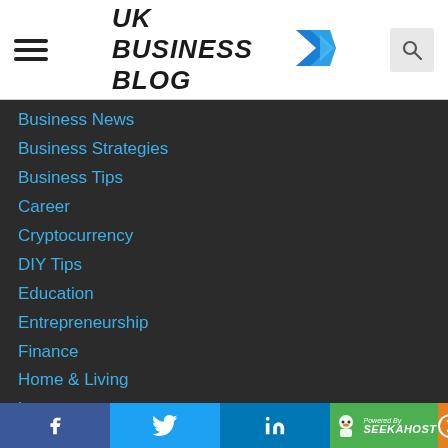UK BUSINESS BLOG
Business News
Business Strategies
Business Tips
Career
Cryptocurrency
DIY Tips
Education
Entrepreneurship
Finance
Home & Living
Law
Legal advice
Lifestyle
Local Business Marketing
Make Money Online
Money Making Tips
Online Marketing
Online Shopping
Real Estate
remote work
f  Twitter  in  Powered By SEEKAHOST  →